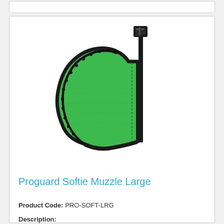[Figure (photo): A Proguard Softie Muzzle in large size, shown from the side. The muzzle is bright green fabric with black edging/trim around the border with small studs, and a black nylon strap with a plastic buckle clip at the top.]
Proguard Softie Muzzle Large
Product Code: PRO-SOFT-LRG
Description: